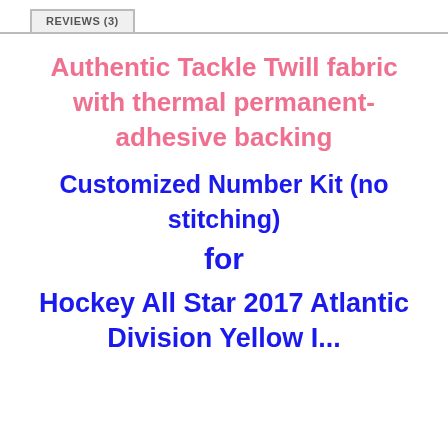REVIEWS (3)
Authentic Tackle Twill fabric with thermal permanent-adhesive backing
Customized Number Kit (no stitching)
for
Hockey All Star 2017 Atlantic Division Yellow I...